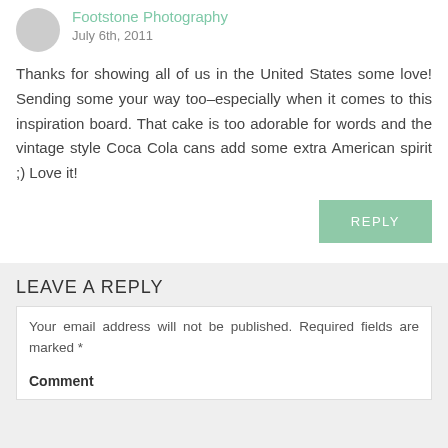Footstone Photography
July 6th, 2011
Thanks for showing all of us in the United States some love! Sending some your way too–especially when it comes to this inspiration board. That cake is too adorable for words and the vintage style Coca Cola cans add some extra American spirit ;) Love it!
REPLY
LEAVE A REPLY
Your email address will not be published. Required fields are marked *
Comment